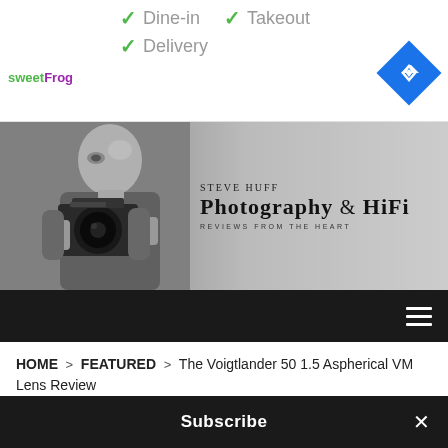[Figure (screenshot): Ad banner for sweetFrog with green checkmarks for Dine-in, Takeout, and Delivery, plus a blue navigation diamond icon on the right]
[Figure (photo): Steve Huff Photography & HiFi website header banner showing a black-and-white photo of a man holding a Leica camera with the site name and tagline 'Reviews from the Heart']
HOME > FEATURED > The Voigtlander 50 1.5 Aspherical VM Lens Review
The Voigtlander 50 1.5 Aspherical
Subscribe